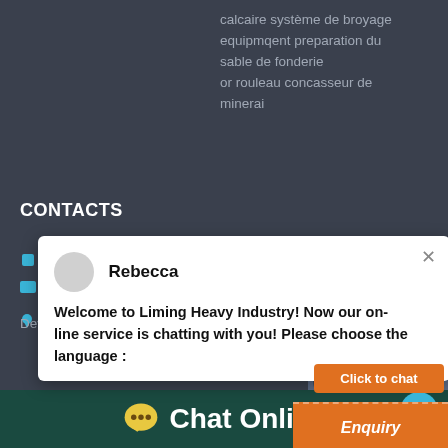calcaire système de broyage equipmqent preparation du sable de fonderie or rouleau concasseur de minerai
CONTACTS
[Figure (screenshot): Chat popup with agent Rebecca from Liming Heavy Industry. Message: 'Welcome to Liming Heavy Industry! Now our on-line service is chatting with you! Please choose the language :'. Agent photo visible on right side with notification badge showing '1' and 'Click to chat' button. Partial 'Enquiry' bar visible at bottom.]
Development Zone, Zhengzhou, China
© 2021 Leemin. All rights reser...
[Figure (infographic): Chat Online button bar with yellow speech bubble icon and white text 'Chat Online' on dark teal background]